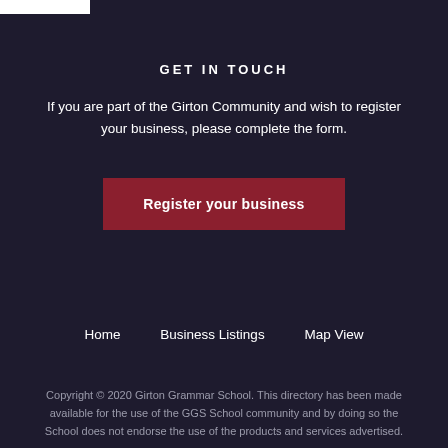GET IN TOUCH
If you are part of the Girton Community and wish to register your business, please complete the form.
Register your business
Home     Business Listings     Map View
Copyright © 2020 Girton Grammar School. This directory has been made available for the use of the GGS School community and by doing so the School does not endorse the use of the products and services advertised.